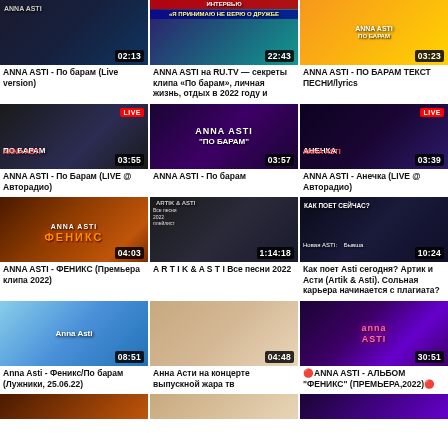[Figure (screenshot): Video thumbnail grid showing YouTube-style video results for ANNA ASTI. Row 1: 3 video thumbnails with durations 02:13, 22:43, 03:23. Row 2: 3 thumbnails with LIVE badges, durations 03:55, 03:57, 03:39. Row 3: 3 thumbnails with durations 04:03, 1:14:18, 10:24. Row 4: 3 thumbnails with durations 08:51, 04:48, 30:51. Row 5: partial view of 3 more thumbnails.]
ANNA ASTI - По барам (Live version)
ANNA ASTI на RU.TV — секреты клипа «По барам», личная жизнь, отдых в 2022 году и
ANNA ASTI - ПО БАРАМ ТЕКСТ ПЕСНИ/lyrics
ANNA ASTI - По Барам (LIVE @ Авторадио)
ANNA ASTI - По барам
ANNA ASTI - Анечка (LIVE @ Авторадио)
ANNA ASTI - ФЕНИКС (Премьера клипа 2022)
A R T I K & A S T I Все песни 2022
Как поет Asti сегодня? Артик и Асти (Artik & Asti). Сольная карьера начинается с плагиата?
Anna Asti - Феникс/По барам (Лужники, 25.06.22)
Анна Асти на концерте выпускной жара тв
🔴ANNA ASTI - АЛЬБОМ "ФЕНИКС" (ПРЕМЬЕРА,2022)🔴